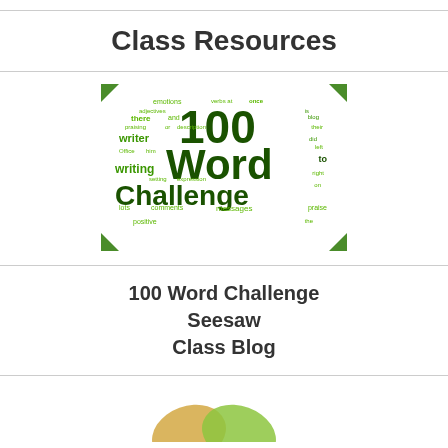Class Resources
[Figure (illustration): 100 Word Challenge word cloud showing various writing-related words in different shades of green, with '100 Word Challenge' as the dominant text]
100 Word Challenge
Seesaw
Class Blog
[Figure (illustration): Partial view of decorative icons or logos at the bottom of the page]